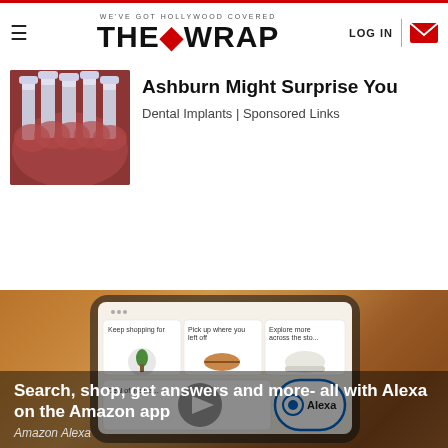WE'VE GOT HOLLYWOOD COVERED | THE WRAP | LOG IN
Ashburn Might Surprise You
Dental Implants | Sponsored Links
[Figure (photo): Dental implants model showing multiple implant posts in gum]
[Figure (photo): Hand holding smartphone showing Amazon app with shopping categories: Keep shopping for, Pick up where you left off, Explore more across the store, Deal of the Day, Alexa. Video play button overlay visible.]
Search, shop, get answers and more- all with Alexa on the Amazon app
Amazon Alexa